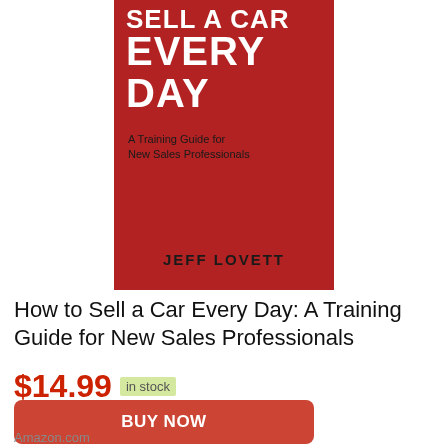[Figure (illustration): Book cover for 'How to Sell a Car Every Day: A Training Guide for New Sales Professionals' by Jeff Lovett. Red background with large white bold text 'EVERY DAY' at top, subtitle text and author name in dark text at bottom.]
How to Sell a Car Every Day: A Training Guide for New Sales Professionals
$14.99 in stock
BUY NOW
Amazon.com